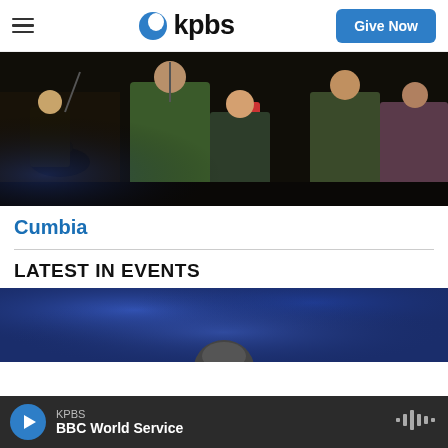KPBS — Give Now
[Figure (photo): Band performing on stage in a dark venue; musicians playing guitar, drums, and other instruments under dim lighting]
Cumbia
LATEST IN EVENTS
[Figure (photo): Blue bokeh background with a person's head visible at the bottom]
KPBS — BBC World Service (audio player bar)